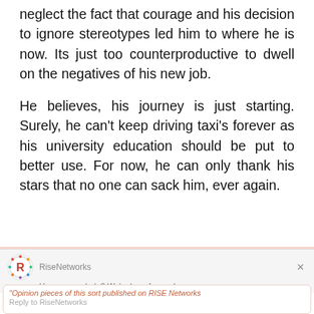neglect the fact that courage and his decision to ignore stereotypes led him to where he is now. Its just too counterproductive to dwell on the negatives of his new job.
He believes, his journey is just starting. Surely, he can't keep driving taxi's forever as his university education should be put to better use. For now, he can only thank his stars that no one can sack him, ever again.
(Source: Ugometrics)
"Opinion pieces of this sort published on RISE Networks